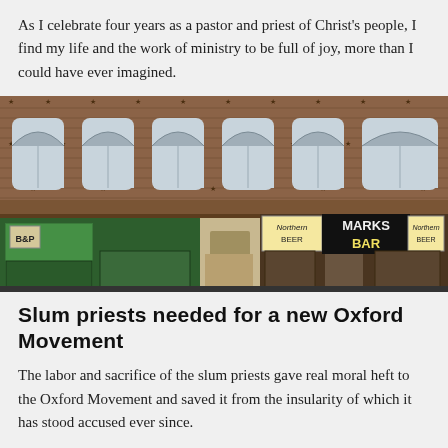As I celebrate four years as a pastor and priest of Christ's people, I find my life and the work of ministry to be full of joy, more than I could have ever imagined.
[Figure (photo): Photograph of a brick building storefront with arched windows on the upper floor. The lower level shows a bar called 'Marks Bar' with Northern Beer signage, and a green-painted shop front on the left labeled B&P.]
Slum priests needed for a new Oxford Movement
The labor and sacrifice of the slum priests gave real moral heft to the Oxford Movement and saved it from the insularity of which it has stood accused ever since.